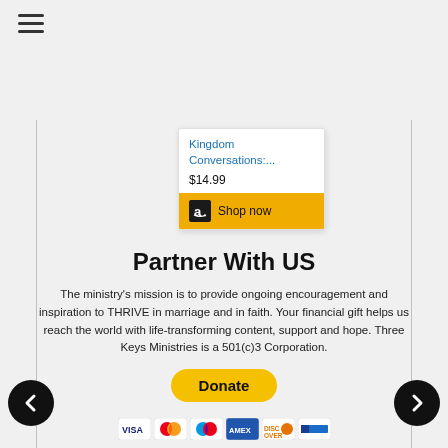[Figure (screenshot): Hamburger menu icon (three horizontal lines) in top-left corner]
[Figure (screenshot): Amazon affiliate product card showing 'Kingdom Conversations:...' priced at $14.99 with a yellow 'Shop now' button featuring Amazon logo]
Partner With US
The ministry's mission is to provide ongoing encouragement and inspiration to THRIVE in marriage and in faith. Your financial gift helps us reach the world with life-transforming content, support and hope. Three Keys Ministries is a 501(c)3 Corporation.
[Figure (screenshot): Yellow 'Donate' button (PayPal-style) with payment method icons below: Visa, Mastercard, Maestro, American Express, Discover, and another card]
[Figure (screenshot): Left navigation arrow (white left-pointing chevron on black circle) and right navigation arrow (white right-pointing chevron on black circle)]